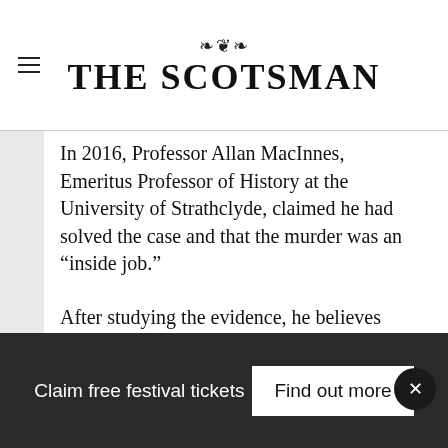THE SCOTSMAN
In 2016, Professor Allan MacInnes, Emeritus Professor of History at the University of Strathclyde, claimed he had solved the case and that the murder was an “inside job.”
After studying the evidence, he believes Campbell’s nephew, Mungo, who walked with his uncle in Lettermore Woods at the time of his death, fired the shot in order to realise his own ambitions.
After the murder, Mungo Campbell inherited
Claim free festival tickets
Find out more